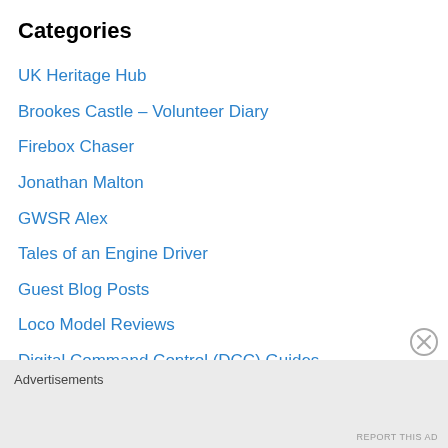Categories
UK Heritage Hub
Brookes Castle – Volunteer Diary
Firebox Chaser
Jonathan Malton
GWSR Alex
Tales of an Engine Driver
Guest Blog Posts
Loco Model Reviews
Digital Command Control (DCC) Guides
Locoyard Model Fleet
Locomotive Workshop
Rolling Stock Workshop
Exhibitions
Competitions
Polls
Advertisements
REPORT THIS AD